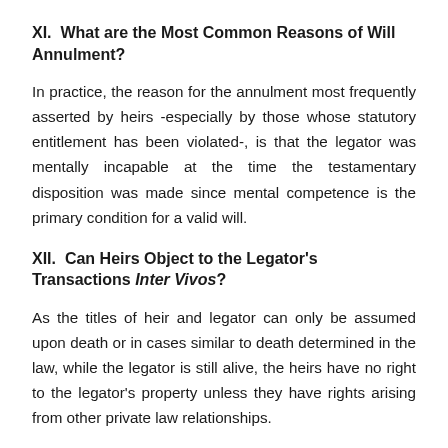XI. What are the Most Common Reasons of Will Annulment?
In practice, the reason for the annulment most frequently asserted by heirs -especially by those whose statutory entitlement has been violated-, is that the legator was mentally incapable at the time the testamentary disposition was made since mental competence is the primary condition for a valid will.
XII. Can Heirs Object to the Legator's Transactions Inter Vivos?
As the titles of heir and legator can only be assumed upon death or in cases similar to death determined in the law, while the legator is still alive, the heirs have no right to the legator's property unless they have rights arising from other private law relationships.